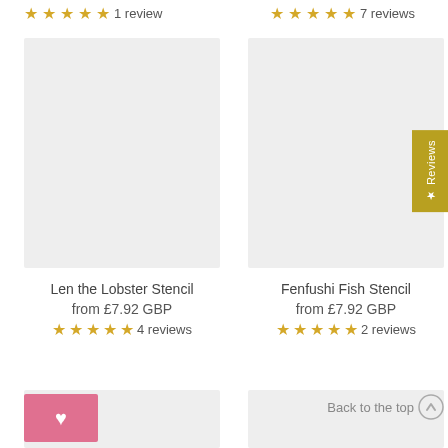★★★★★ 1 review
★★★★★ 7 reviews
[Figure (photo): Product image placeholder - Len the Lobster Stencil]
[Figure (photo): Product image placeholder - Fenfushi Fish Stencil]
Len the Lobster Stencil
from £7.92 GBP
★★★★½ 4 reviews
Fenfushi Fish Stencil
from £7.92 GBP
★★★★½ 2 reviews
[Figure (photo): Product image placeholder - bottom left]
[Figure (photo): Product image placeholder - bottom right]
Back to the top ↑